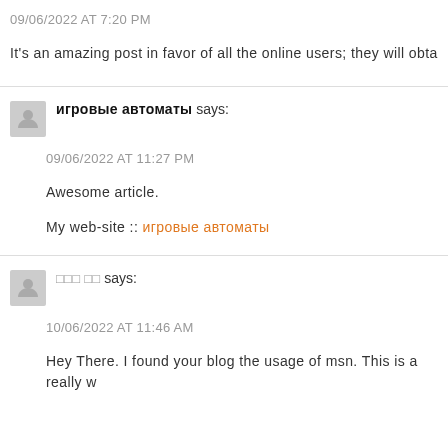09/06/2022 AT 7:20 PM
It's an amazing post in favor of all the online users; they will obta
игровые автоматы says:
09/06/2022 AT 11:27 PM
Awesome article.
My web-site :: игровые автоматы
□□□ □□ says:
10/06/2022 AT 11:46 AM
Hey There. I found your blog the usage of msn. This is a really w